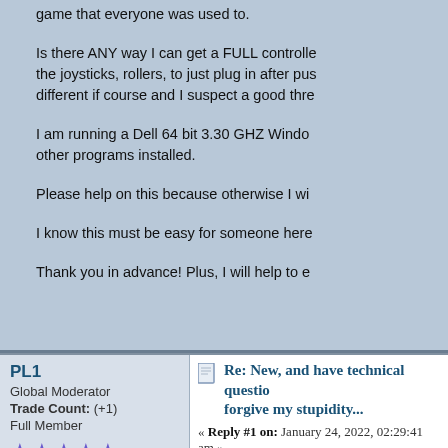game that everyone was used to.
Is there ANY way I can get a FULL controller with the joysticks, rollers, to just plug in after pushing different if course and I suspect a good thre...
I am running a Dell 64 bit 3.30 GHZ Windows... other programs installed.
Please help on this because otherwise I wil...
I know this must be easy for someone here...
Thank you in advance! Plus, I will help to e...
PL1
Global Moderator
Trade Count: (+1)
Full Member
★★★★★
Offline
Re: New, and have technical questio... forgive my stupidity...
« Reply #1 on: January 24, 2022, 02:29:41 am »
Check out What type of build meets my nee... info on the wiki.
Quote from: Chance667 on January 24, 2022, 12:2...